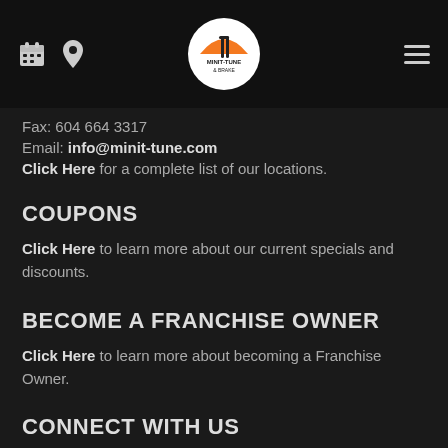Minit-Tune & Brake header with logo, calendar icon, location icon, and hamburger menu
Fax: 604 664 3317
Email: info@minit-tune.com
Click Here for a complete list of our locations.
COUPONS
Click Here to learn more about our current specials and discounts.
BECOME A FRANCHISE OWNER
Click Here to learn more about becoming a Franchise Owner.
CONNECT WITH US
Like us on Facebook